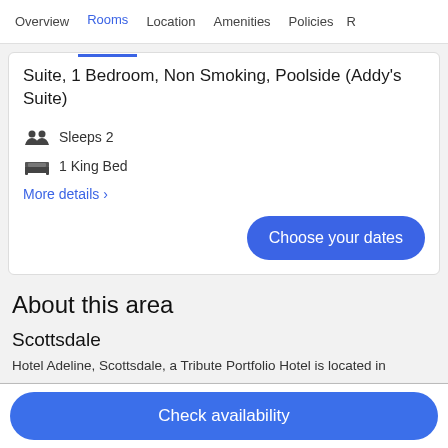Overview | Rooms | Location | Amenities | Policies | R
Suite, 1 Bedroom, Non Smoking, Poolside (Addy's Suite)
Sleeps 2
1 King Bed
More details >
Choose your dates
About this area
Scottsdale
Hotel Adeline, Scottsdale, a Tribute Portfolio Hotel is located in
Check availability